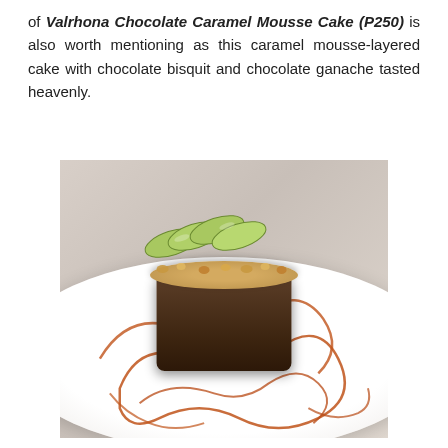of Valrhona Chocolate Caramel Mousse Cake (P250) is also worth mentioning as this caramel mousse-layered cake with chocolate bisquit and chocolate ganache tasted heavenly.
[Figure (photo): A round chocolate caramel mousse cake on a white plate, topped with crumble and sliced avocado, with caramel sauce drizzled around the plate.]